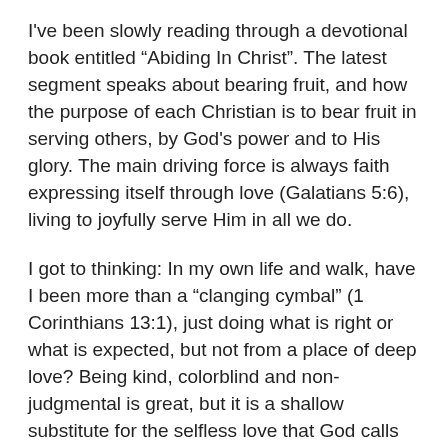I've been slowly reading through a devotional book entitled "Abiding In Christ". The latest segment speaks about bearing fruit, and how the purpose of each Christian is to bear fruit in serving others, by God's power and to His glory. The main driving force is always faith expressing itself through love (Galatians 5:6), living to joyfully serve Him in all we do.
I got to thinking: In my own life and walk, have I been more than a "clanging cymbal" (1 Corinthians 13:1), just doing what is right or what is expected, but not from a place of deep love? Being kind, colorblind and non-judgmental is great, but it is a shallow substitute for the selfless love that God calls us to share. Thankfully, by His grace God works with me, as He does with everyone who humbly looks to Him. The Lord uses us right where we are, if we let Him. In all my weaknesses, God is truly my strength (2 Corinthians 12:9), and He helps me grow and improve every day. As I've